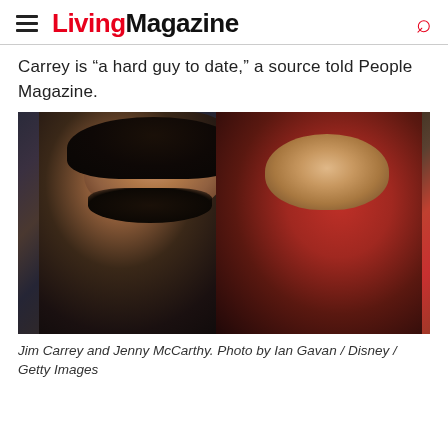Living Magazine
Carrey is “a hard guy to date,” a source told People Magazine.
[Figure (photo): Jim Carrey and Jenny McCarthy posed together. Jim Carrey on the left wearing a dark coat, Jenny McCarthy on the right wearing a red coat.]
Jim Carrey and Jenny McCarthy. Photo by Ian Gavan / Disney / Getty Images